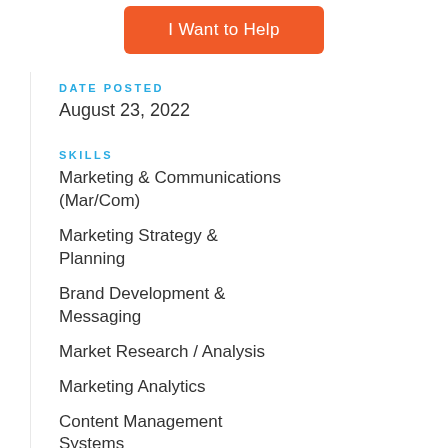[Figure (other): Orange button labeled 'I Want to Help']
DATE POSTED
August 23, 2022
SKILLS
Marketing & Communications (Mar/Com)
Marketing Strategy & Planning
Brand Development & Messaging
Market Research / Analysis
Marketing Analytics
Content Management Systems
GOOD FOR
People 55+